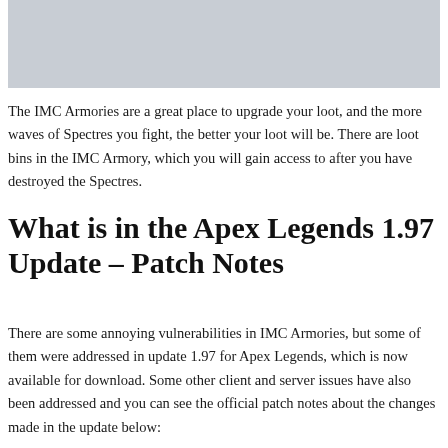[Figure (photo): Gray placeholder image at the top of the page]
The IMC Armories are a great place to upgrade your loot, and the more waves of Spectres you fight, the better your loot will be. There are loot bins in the IMC Armory, which you will gain access to after you have destroyed the Spectres.
What is in the Apex Legends 1.97 Update – Patch Notes
There are some annoying vulnerabilities in IMC Armories, but some of them were addressed in update 1.97 for Apex Legends, which is now available for download. Some other client and server issues have also been addressed and you can see the official patch notes about the changes made in the update below: